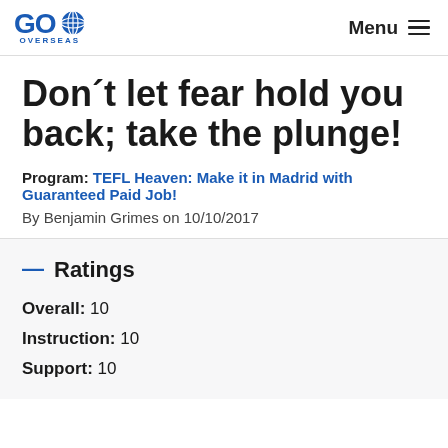Go Overseas | Menu
Don´t let fear hold you back; take the plunge!
Program: TEFL Heaven: Make it in Madrid with Guaranteed Paid Job!
By Benjamin Grimes on 10/10/2017
— Ratings
Overall: 10
Instruction: 10
Support: 10